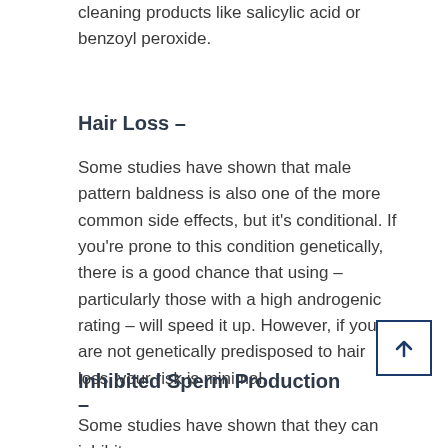cleaning products like salicylic acid or benzoyl peroxide.
Hair Loss –
Some studies have shown that male pattern baldness is also one of the more common side effects, but it's conditional. If you're prone to this condition genetically, there is a good chance that using – particularly those with a high androgenic rating – will speed it up. However, if you are not genetically predisposed to hair loss, your risk is minimal.
Inhibited Sperm Production –
Some studies have shown that they can inhibit